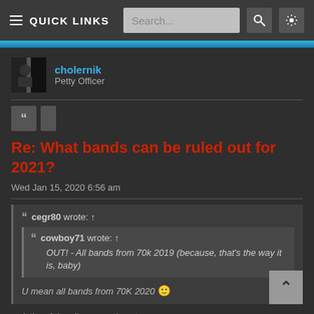≡ QUICK LINKS  Search...
cholernik
Petty Officer
Re: What bands can be ruled out for 2021?
Wed Jan 15, 2020 6:56 am
cegr80 wrote: ↑
cowboy71 wrote: ↑
OUT! - All bands from 70k 2019 (because, that's the way it is, baby)
U mean all bands from 70K 2020 🙂
a victim of the ol' copy and paste